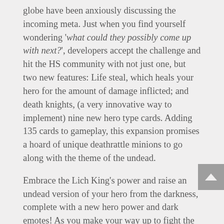globe have been anxiously discussing the incoming meta. Just when you find yourself wondering 'what could they possibly come up with next?', developers accept the challenge and hit the HS community with not just one, but two new features: Life steal, which heals your hero for the amount of damage inflicted; and death knights, (a very innovative way to implement) nine new hero type cards. Adding 135 cards to gameplay, this expansion promises a hoard of unique deathrattle minions to go along with the theme of the undead.
Embrace the Lich King's power and raise an undead version of your hero from the darkness, complete with a new hero power and dark emotes! As you make your way up to fight the Lich King himself, you'll encounter eight different challenges lying in wait for our heroes in the walls of the Icecrown Citadel. Once you take down the final boss, one of the rewards include new Paladin class hero, Arthas